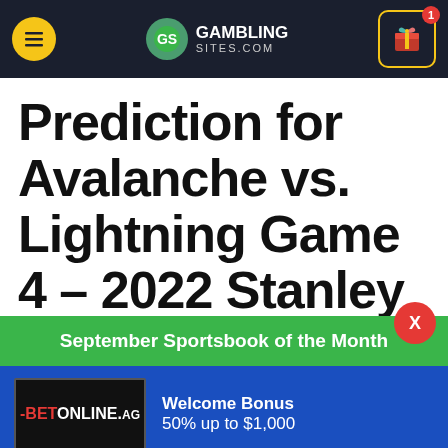GamblingSites.com
Prediction for Avalanche vs. Lightning Game 4 – 2022 Stanley Cup
September Sportsbook of the Month
[Figure (logo): BetOnline.ag logo on black background]
Welcome Bonus
50% up to $1,000
VISIT SITE ▶